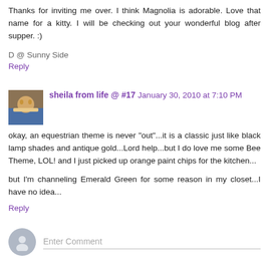Thanks for inviting me over. I think Magnolia is adorable. Love that name for a kitty. I will be checking out your wonderful blog after supper. :)
D @ Sunny Side
Reply
sheila from life @ #17  January 30, 2010 at 7:10 PM
okay, an equestrian theme is never "out"...it is a classic just like black lamp shades and antique gold...Lord help...but I do love me some Bee Theme, LOL! and I just picked up orange paint chips for the kitchen...
but I'm channeling Emerald Green for some reason in my closet...I have no idea...
Reply
Enter Comment